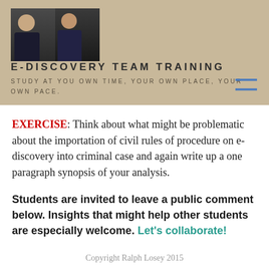[Figure (photo): Two men in suits seated at a table, photo used as site header image]
E-DISCOVERY TEAM TRAINING
STUDY AT YOU OWN TIME, YOUR OWN PLACE, YOUR OWN PACE.
EXERCISE: Think about what might be problematic about the importation of civil rules of procedure on e-discovery into criminal case and again write up a one paragraph synopsis of your analysis.
Students are invited to leave a public comment below. Insights that might help other students are especially welcome. Let's collaborate!
Copyright Ralph Losey 2015